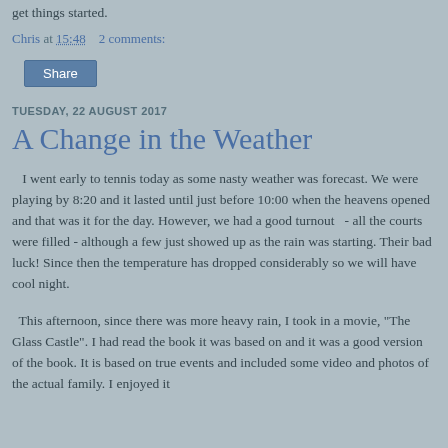get things started.
Chris at 15:48   2 comments:
Share
TUESDAY, 22 AUGUST 2017
A Change in the Weather
I went early to tennis today as some nasty weather was forecast. We were playing by 8:20 and it lasted until just before 10:00 when the heavens opened and that was it for the day. However, we had a good turnout  - all the courts were filled - although a few just showed up as the rain was starting. Their bad luck! Since then the temperature has dropped considerably so we will have cool night.
This afternoon, since there was more heavy rain, I took in a movie, "The Glass Castle". I had read the book it was based on and it was a good version of the book. It is based on true events and included some video and photos of the actual family. I enjoyed it